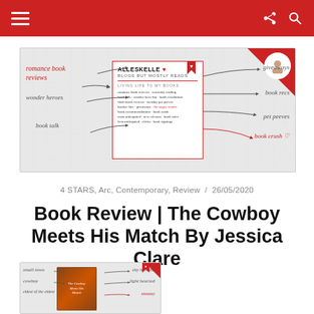Navigation bar with hamburger menu, share icon, and search icon
[Figure (illustration): Alleskelle blog banner: handwritten annotations around a central book card reading 'ALLESKELLE BLOGS BUT MOSTLY READS', with labels: romance book reviews, wonder heroes, book talk, giveaways, book recs, pet peeves, book crush]
4 STARS, Arc, Contemporary, Review  /  26/05/2020
Book Review | The Cowboy Meets His Match By Jessica Clare
[Figure (illustration): Bottom preview card with handwritten annotations: small town, cowboy, eldest of the oldest, shy heroine, light hearted, and a book cover image]